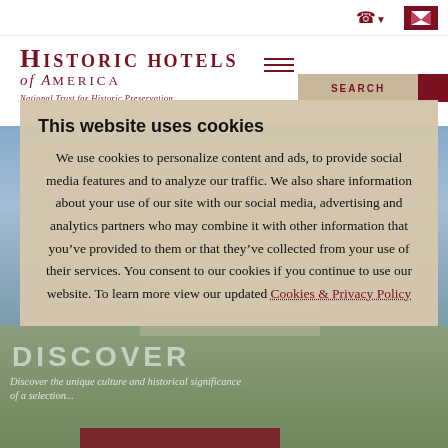Historic Hotels of America — National Trust for Historic Preservation
This website uses cookies
We use cookies to personalize content and ads, to provide social media features and to analyze our traffic. We also share information about your use of our site with our social media, advertising and analytics partners who may combine it with other information that you've provided to them or that they've collected from your use of their services. You consent to our cookies if you continue to use our website. To learn more view our updated Cookies & Privacy Policy
[Figure (screenshot): Background screenshot of Historic Hotels of America website with hotel image, Memories heading, Discover section visible behind cookie consent overlay]